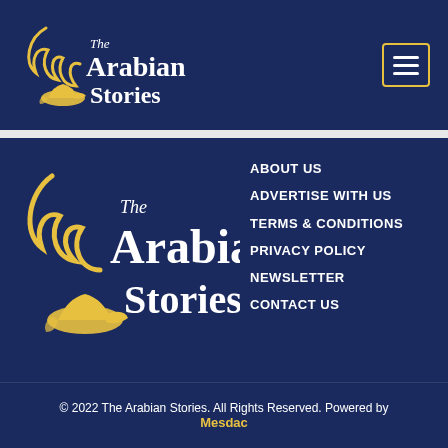[Figure (logo): The Arabian Stories logo in header — gold lamp and curl motif with white serif text]
[Figure (logo): Hamburger menu icon with yellow border in top right]
ABOUT US
ADVERTISE WITH US
TERMS & CONDITIONS
PRIVACY POLICY
NEWSLETTER
CONTACT US
[Figure (logo): The Arabian Stories logo in main body — larger version with gold lamp and curl motif]
© 2022 The Arabian Stories. All Rights Reserved. Powered by Mesdac